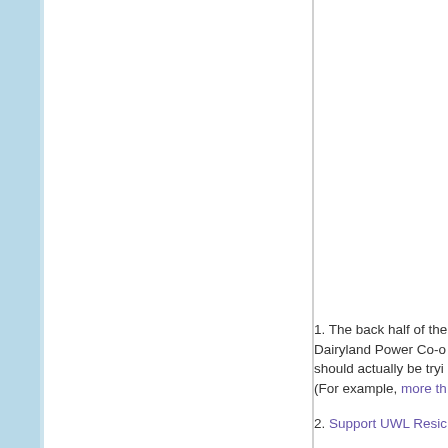1. The back half of the Dairyland Power Co-o should actually be tryi (For example, more th
2. Support UWL Resic
3. Take back the co-op